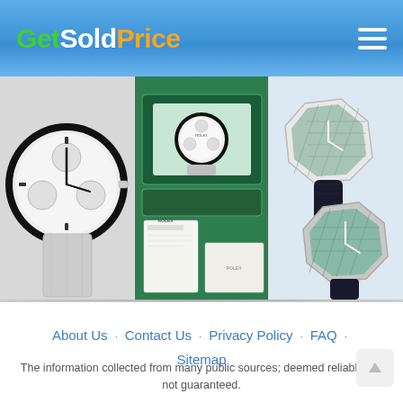GetSoldPrice - navigation header with logo and hamburger menu
[Figure (photo): Close-up of a Rolex Daytona chronograph watch face with white dial and black bezel, silver bracelet]
[Figure (photo): Rolex watch in green presentation box with papers and accessories on teal background]
[Figure (photo): Two Audemars Piguet Royal Oak watches with blue/teal dials and dark rubber straps on white surface]
About Us · Contact Us · Privacy Policy · FAQ · Sitemap
The information collected from many public sources; deemed reliable but not guaranteed.